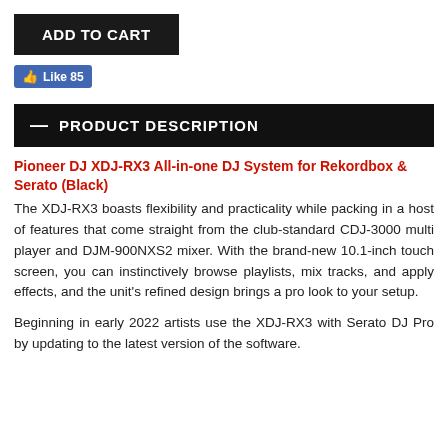ADD TO CART
Like 85
— PRODUCT DESCRIPTION
Pioneer DJ XDJ-RX3 All-in-one DJ System for Rekordbox & Serato (Black)
The XDJ-RX3 boasts flexibility and practicality while packing in a host of features that come straight from the club-standard CDJ-3000 multi player and DJM-900NXS2 mixer. With the brand-new 10.1-inch touch screen, you can instinctively browse playlists, mix tracks, and apply effects, and the unit's refined design brings a pro look to your setup.
Beginning in early 2022 artists use the XDJ-RX3 with Serato DJ Pro by updating to the latest version of the software.